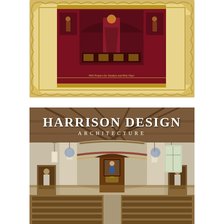[Figure (illustration): A decorative missal or prayer book cover with an ornate gold lace-style border on a cream/tan background. Center features a dark red/crimson panel with a religious icon depicting a robed figure (saint or Madonna) at an ornate altar with decorative elements. Small text at the bottom of the red panel reads 'With Propers for Sundays and Holy Days'.]
[Figure (photo): A photograph of a church interior (Harrison Design Architecture) showing pews, arched ceilings with wooden beams, hanging lantern-style light fixtures, decorative arched apse with religious artwork, side altars with saint statues, and stained glass windows. Overlaid text reads 'HARRISON DESIGN' in large serif capitals and 'ARCHITECTURE' in smaller spaced capitals below.]